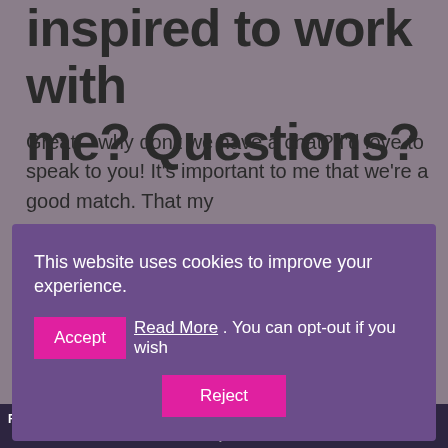inspired to work with me? Questions?
Great – why don't we have a chat? I'd love to speak to you! It's important to me that we're a good match. That my
[Figure (screenshot): Cookie consent banner with purple background. Text: 'This website uses cookies to improve your experience.' Two pink buttons labeled 'Accept' and 'Reject', with 'Read More . You can opt-out if you wish' text between them.]
right for you? You know you cannot do that on your own? Then book an initial free call with me now. We'll talk about where you stand and what you want to do. We'll clarify any questions, work out if and how we can best work
READY FOR A LIFE CHANGE? Find out with my quiz and receive your Life Change Catalyst tool